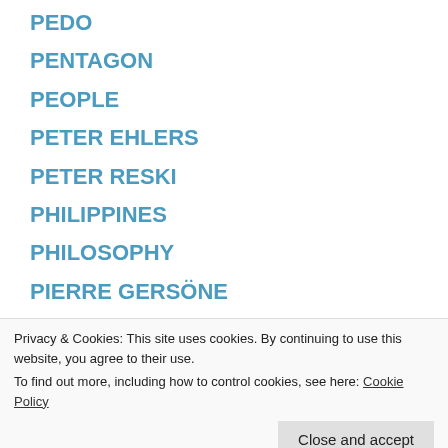PEDO
PENTAGON
PEOPLE
PETER EHLERS
PETER RESKI
PHILIPPINES
PHILOSOPHY
PIERRE GERSÖNE
POLAND
Privacy & Cookies: This site uses cookies. By continuing to use this website, you agree to their use.
To find out more, including how to control cookies, see here: Cookie Policy
PROTEST AND OCCUPY MOVEMENT INTERNATIONAL